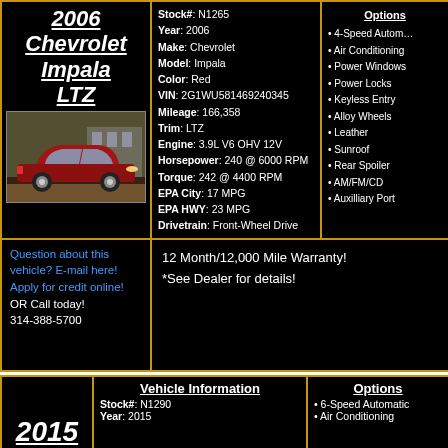2006 Chevrolet Impala LTZ
[Figure (photo): Red 2006 Chevrolet Impala LTZ parked in front of a dealership]
| Field | Value |
| --- | --- |
| Stock# | N1265 |
| Year | 2006 |
| Make | Chevrolet |
| Model | Impala |
| Color | Red |
| VIN | 2G1WU581469240345 |
| Mileage | 166,358 |
| Trim | LTZ |
| Engine | 3.9L V6 OHV 12V |
| Horsepower | 240 @ 6000 RPM |
| Torque | 242 @ 4400 RPM |
| EPA City | 17 MPG |
| EPA HWY | 23 MPG |
| Drivetrain | Front-Wheel Drive |
4-Speed Automatic
Air Conditioning
Power Windows
Power Locks
Keyless Entry
Alloy Wheels
Leather
Sunroof
Rear Spoiler
AM/FM/CD
Auxilliary Port
Question about this vehicle? E-mail here!
Apply for credit online!
OR Call today!
314-388-5700
12 Month/12,000 Mile Warranty!
*See Dealer for details!
2015
Vehicle Information
Stock#: N1290
Year: 2015
Options
6-Speed Automatic
Air Conditioning